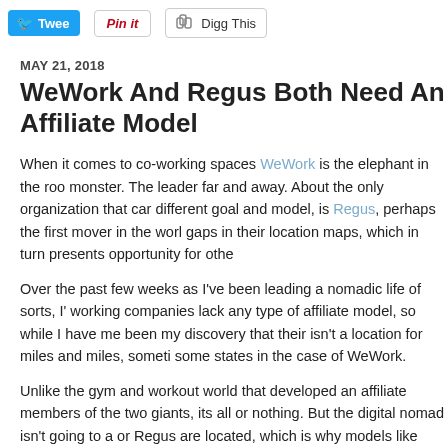Tweet | Pin it | Digg This
MAY 21, 2018
WeWork And Regus Both Need An Affiliate Model
When it comes to co-working spaces WeWork is the elephant in the roo monster. The leader far and away. About the only organization that car different goal and model, is Regus, perhaps the first mover in the worl gaps in their location maps, which in turn presents opportunity for othe
Over the past few weeks as I've been leading a nomadic life of sorts, I' working companies lack any type of affiliate model, so while I have me been my discovery that their isn't a location for miles and miles, someti some states in the case of WeWork.
Unlike the gym and workout world that developed an affiliate members of the two giants, its all or nothing. But the digital nomad isn't going to a or Regus are located, which is why models like those from Croissant, th working Spaces (Lexco) and CoPass all are ahead of the game. They fu lounge leader Priority Pass does, where you join the "club" and get acc free and sometimes for a daily rate.
Now here's a thought. If I was running the Centurion Lounge Program f